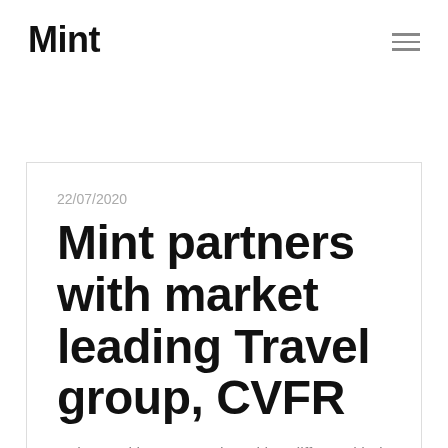Mint
22/07/2020
Mint partners with market leading Travel group, CVFR
we're stacking our service with a different kind of value, so our customers feel rewarded through the experience.